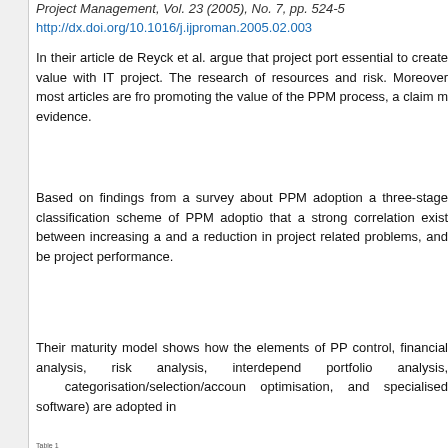Project Management, Vol. 23 (2005), No. 7, pp. 524-5
http://dx.doi.org/10.1016/j.ijproman.2005.02.003
In their article de Reyck et al. argue that project port essential to create value with IT project. The research of resources and risk. Moreover most articles are fro promoting the value of the PPM process, a claim m evidence.
Based on findings from a survey about PPM adoption a three-stage classification scheme of PPM adoptio that a strong correlation exist between increasing a and a reduction in project related problems, and be project performance.
Their maturity model shows how the elements of PP control, financial analysis, risk analysis, interdepend portfolio analysis, categorisation/selection/accoun optimisation, and specialised software) are adopted in
Table 1 ...